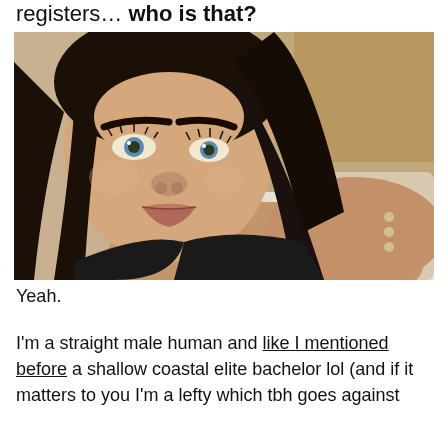registers… who is that?
[Figure (photo): Close-up selfie photo of a young woman with dark hair, blue eyes, heavy eye makeup, lying down facing the camera, wearing a dark top.]
Yeah.
I'm a straight male human and like I mentioned before a shallow coastal elite bachelor lol (and if it matters to you I'm a lefty which tbh goes against